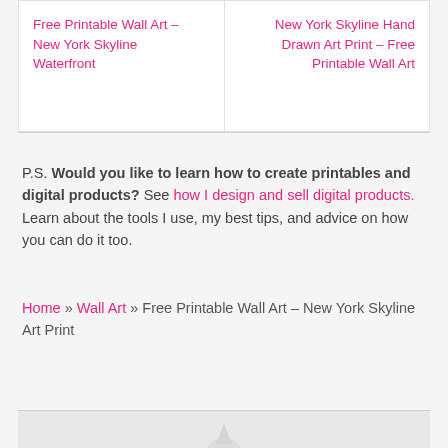Free Printable Wall Art – New York Skyline Waterfront
New York Skyline Hand Drawn Art Print – Free Printable Wall Art
P.S. Would you like to learn how to create printables and digital products? See how I design and sell digital products. Learn about the tools I use, my best tips, and advice on how you can do it too.
Home » Wall Art » Free Printable Wall Art – New York Skyline Art Print
[Figure (photo): Bottom portion of an image partially visible, appears to be a decorative art print preview]